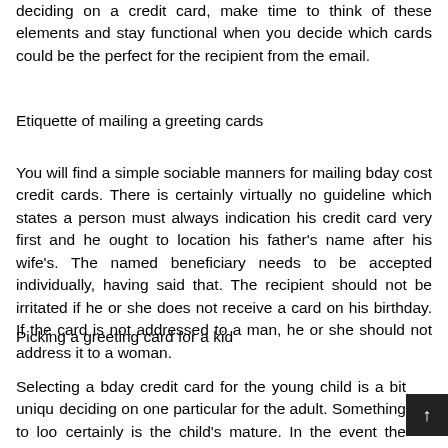deciding on a credit card, make time to think of these elements and stay functional when you decide which cards could be the perfect for the recipient from the email.
Etiquette of mailing a greeting cards
You will find a simple sociable manners for mailing bday cost credit cards. There is certainly virtually no guideline which states a person must always indication his credit card very first and he ought to location his father's name after his wife's. The named beneficiary needs to be accepted individually, having said that. The recipient should not be irritated if he or she does not receive a card on his birthday. If the card is not addressed to a man, he or she should not address it to a woman.
Picking a greeting card for a kid
Selecting a bday credit card for the young child is a bit unique deciding on one particular for the adult. Something to look at certainly is the child's mature. In the event the baby remains to